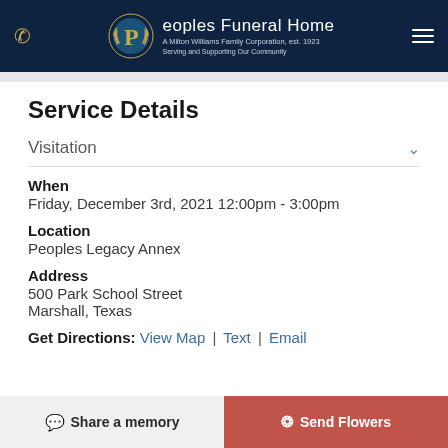Peoples Funeral Home — A Milton Williams Family Corporation, est. 1923 — Serving and Supporting Our Community
Service Details
Visitation
When
Friday, December 3rd, 2021 12:00pm - 3:00pm
Location
Peoples Legacy Annex
Address
500 Park School Street
Marshall, Texas
Get Directions: View Map | Text | Email